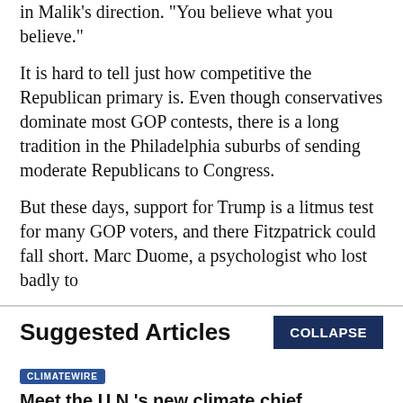in Malik's direction. "You believe what you believe."
It is hard to tell just how competitive the Republican primary is. Even though conservatives dominate most GOP contests, there is a long tradition in the Philadelphia suburbs of sending moderate Republicans to Congress.
But these days, support for Trump is a litmus test for many GOP voters, and there Fitzpatrick could fall short. Marc Duome, a psychologist who lost badly to
Suggested Articles
CLIMATEWIRE
Meet the U.N.'s new climate chief
BY Sara Schonhardt | 08/29/2022 02:00 PM EDT
Read More >>
CLIMATEWIRE
With prices soaring, natural gas faces uncertain future